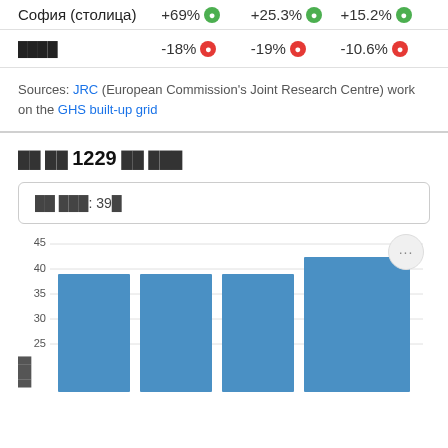София (столица)   +69% ▲   +25.3% ▲   +15.2% ▲
████   -18% ▼   -19% ▼   -10.6% ▼
Sources: JRC (European Commission's Joint Research Centre) work on the GHS built-up grid
██ ██ 1229 ██ ███
██ ███: 39█
[Figure (bar-chart): ]